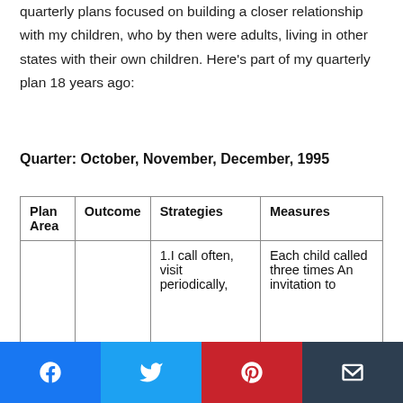quarterly plans focused on building a closer relationship with my children, who by then were adults, living in other states with their own children. Here's part of my quarterly plan 18 years ago:
Quarter: October, November, December, 1995
| Plan Area | Outcome | Strategies | Measures |
| --- | --- | --- | --- |
|  |  | 1.I call often, visit periodically, | Each child called three times An invitation to |
[Figure (other): Social sharing bar with Facebook, Twitter, Pinterest, and Email icons]